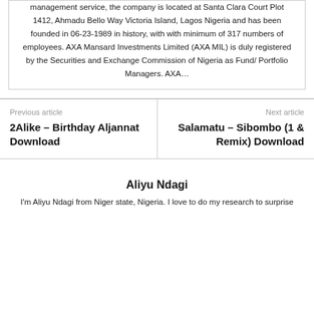management service, the company is located at Santa Clara Court Plot 1412, Ahmadu Bello Way Victoria Island, Lagos Nigeria and has been founded in 06-23-1989 in history, with with minimum of 317 numbers of employees. AXA Mansard Investments Limited (AXA MIL) is duly registered by the Securities and Exchange Commission of Nigeria as Fund/ Portfolio Managers. AXA…
Previous article
2Alike – Birthday Aljannat Download
Next article
Salamatu – Sibombo (1 & Remix) Download
Aliyu Ndagi
I'm Aliyu Ndagi from Niger state, Nigeria. I love to do my research to surprise